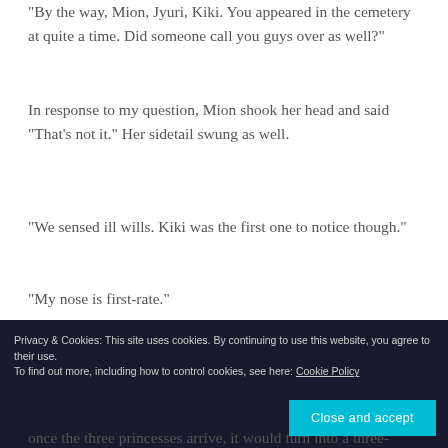“By the way, Mion, Jyuri, Kiki. You appeared in the cemetery at quite a time. Did someone call you guys over as well?”
In response to my question, Mion shook her head and said “That’s not it.” Her sidetail swung as well.
“We sensed ill wills. Kiki was the first one to notice though.”
“My nose is first-rate.”
“I, Jyuri, also noticed immediately. The cemetery isn’t that far from our home.”
once the three princesses arrive, it would turn into a three-
Privacy & Cookies: This site uses cookies. By continuing to use this website, you agree to their use. To find out more, including how to control cookies, see here: Cookie Policy